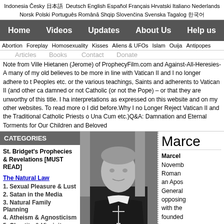Indonesia Česky 日本語 Deutsch English Español Français Hrvatski Italiano Nederlands Norsk Polski Português Română Shqip Slovenčina Svenska Tagalog 한국어
Home  Videos  Updates  About Us  Help us
Abortion  Foreplay  Homosexuality  Kisses  Aliens & UFOs  Islam  Ouija  Antipopes
Articles  Books  Contact  Donate
Note from Ville Hietanen (Jerome) of ProphecyFilm.com and Against-All-Heresies-A many of my old believes to be more in line with Vatican II and I no longer adhere to t Peoples etc. or the various teachings, Saints and adherents to Vatican II (and other ca damned or not Catholic (or not the Pope) – or that they are unworthy of this title. I ha interpretations as expressed on this website and on my other websites. To read more o I did before.Why I no Longer Reject Vatican II and the Traditional Catholic Priests o Una Cum etc.)Q&A: Damnation and Eternal Torments for Our Children and Beloved
CATEGORIES
St. Bridget's Prophecies & Revelations [MUST READ]
The Natural Law
1. Sexual Pleasure & Lust
2. Satan in the Media
3. Natural Family Planning
4. Atheism & Agnosticism
5. Chastity & Virginity
6. Masturbation
[Figure (photo): Black and white photo of a Catholic bishop or archbishop in clerical dress with a cross, standing outdoors in front of a building]
Marce
Marcel November Roman  an Apos General opposing with the founded